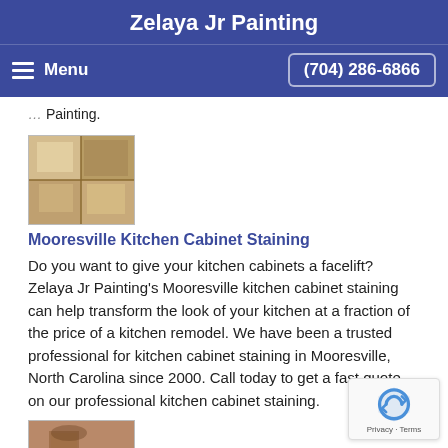Zelaya Jr Painting
Menu  (704) 286-6866
Painting.
[Figure (photo): Photo of kitchen cabinets with wood staining]
Mooresville Kitchen Cabinet Staining
Do you want to give your kitchen cabinets a facelift? Zelaya Jr Painting's Mooresville kitchen cabinet staining can help transform the look of your kitchen at a fraction of the price of a kitchen remodel. We have been a trusted professional for kitchen cabinet staining in Mooresville, North Carolina since 2000. Call today to get a fast quote on our professional kitchen cabinet staining.
[Figure (photo): Photo of a room interior with textured walls]